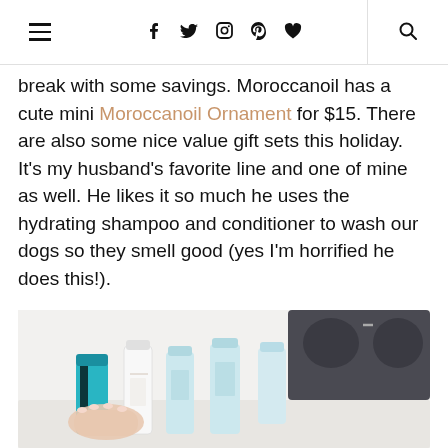Navigation bar with hamburger menu, social icons (Facebook, Twitter, Instagram, Pinterest, Heart), and search icon
break with some savings. Moroccanoil has a cute mini Moroccanoil Ornament for $15. There are also some nice value gift sets this holiday. It’s my husband’s favorite line and one of mine as well. He likes it so much he uses the hydrating shampoo and conditioner to wash our dogs so they smell good (yes I’m horrified he does this!).
[Figure (photo): Photo of several hair care product bottles including a teal/white Moroccanoil ornament and light blue bottles, held by a hand with manicured nails, with a dark gift box in the background on a white surface.]